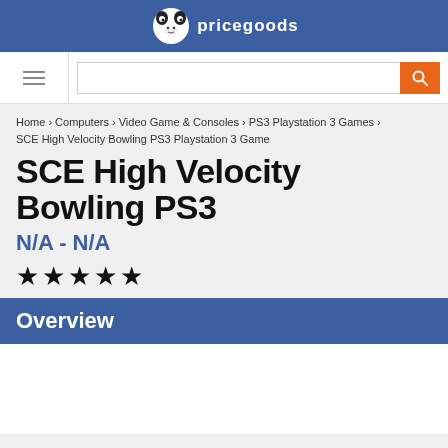pricegoods (logo/header bar)
[Figure (screenshot): Website header with panda logo and site name 'pricegoods' on blue background]
Home › Computers › Video Game & Consoles › PS3 Playstation 3 Games › SCE High Velocity Bowling PS3 Playstation 3 Game
SCE High Velocity Bowling PS3
N/A - N/A
★ ★ ★ ★ ★
Overview